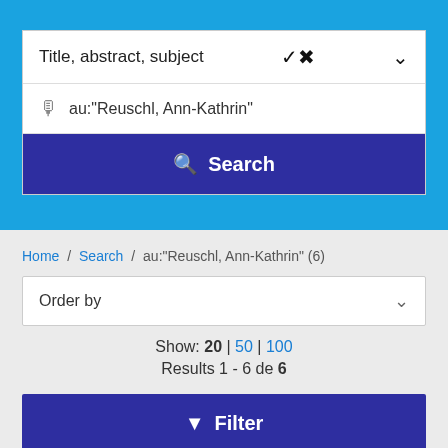Title, abstract, subject
au:"Reuschl, Ann-Kathrin"
Search
Home / Search / au:"Reuschl, Ann-Kathrin" (6)
Order by
Show: 20 | 50 | 100
Results 1 - 6 de 6
Filter